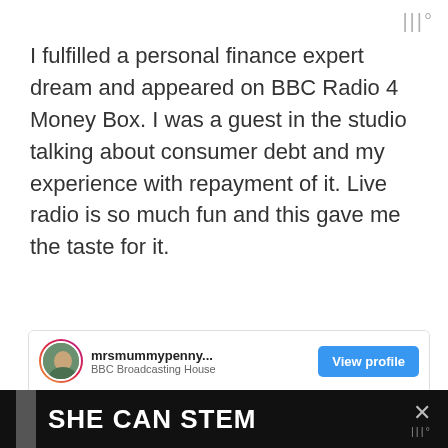|||°
I fulfilled a personal finance expert dream and appeared on BBC Radio 4 Money Box. I was a guest in the studio talking about consumer debt and my experience with repayment of it. Live radio is so much fun and this gave me the taste for it.
[Figure (screenshot): Instagram-style card showing username 'mrsmummypenny...' at 'BBC Broadcasting House' with a 'View profile' button, and a photo of a broadcasting studio with screens showing a clock display, with like (heart) button showing 1 like and a share button]
[Figure (photo): Dark advertisement banner with white bold text 'SHE CAN STEM' and a close button with logo]